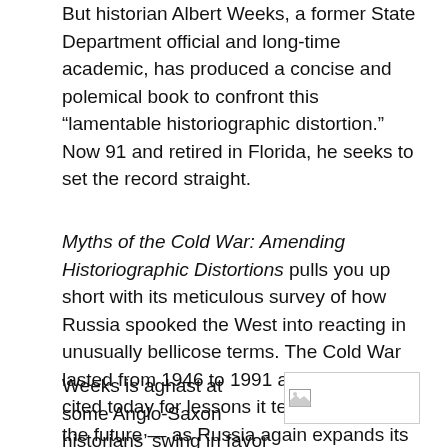But historian Albert Weeks, a former State Department official and long-time academic, has produced a concise and polemical book to confront this “lamentable historiographic distortion.” Now 91 and retired in Florida, he seeks to set the record straight.
Myths of the Cold War: Amending Historiographic Distortions pulls you up short with its meticulous survey of how Russia spooked the West into reacting in unusually bellicose terms. The Cold War lasted from 1946 to 1991 and is often cited today for lessons it teaches us for the future — as Russia again expands its borders and cools relations with the West. Should another cold war emerge, this book will serve as a useful backgrounder.
Weeks is aghast at some Anglo-Saxon historians’ swing in favor of the Russians. “In
[Figure (photo): Broken image placeholder showing a small image icon with a border]